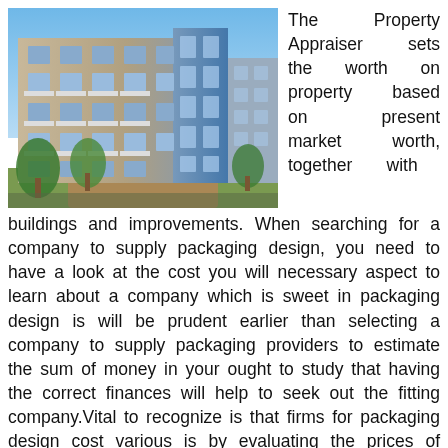[Figure (photo): Modern multi-story residential apartment building with balconies and glass facade, photographed outdoors with trees in the foreground and blue sky above.]
The Property Appraiser sets the worth on property based on present market worth, together with buildings and improvements. When searching for a company to supply packaging design, you need to have a look at the cost you will necessary aspect to learn about a company which is sweet in packaging design is will be prudent earlier than selecting a company to supply packaging providers to estimate the sum of money in your ought to study that having the correct finances will help to seek out the fitting company.Vital to recognize is that firms for packaging design cost various is by evaluating the prices of assorted companies that you'll cut back the money you'll use packing will probably be